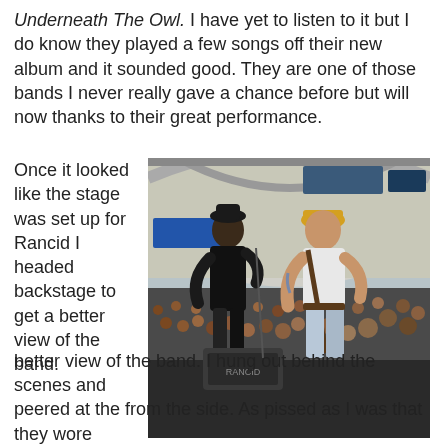Underneath The Owl. I have yet to listen to it but I do know they played a few songs off their new album and it sounded good. They are one of those bands I never really gave a chance before but will now thanks to their great performance.
Once it looked like the stage was set up for Rancid I headed backstage to get a better view of the band.
[Figure (photo): Concert photo showing two performers on stage from behind, facing a large crowd under a tent/pavilion structure. One performer wears black, another has blonde hair and a sleeveless top. A case labeled 'RANCID' is visible on stage.]
I hung out behind the scenes and peered at the from the side. As pissed as I was that they wore